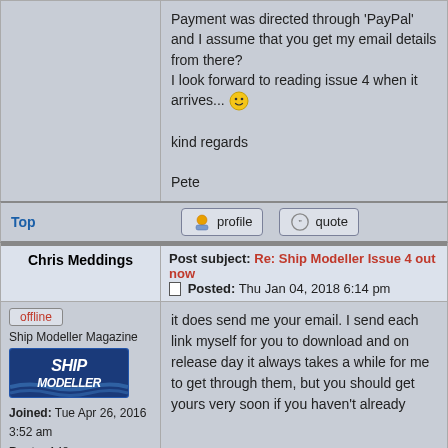Payment was directed through 'PayPal' and I assume that you get my email details from there?
I look forward to reading issue 4 when it arrives... :)

kind regards

Pete
Top
profile
quote
Chris Meddings
Post subject: Re: Ship Modeller Issue 4 out now
Posted: Thu Jan 04, 2018 6:14 pm
offline
Ship Modeller Magazine
Joined: Tue Apr 26, 2016 3:52 am
Posts: 148
it does send me your email. I send each link myself for you to download and on release day it always takes a while for me to get through them, but you should get yours very soon if you haven't already
Top
profile
quote